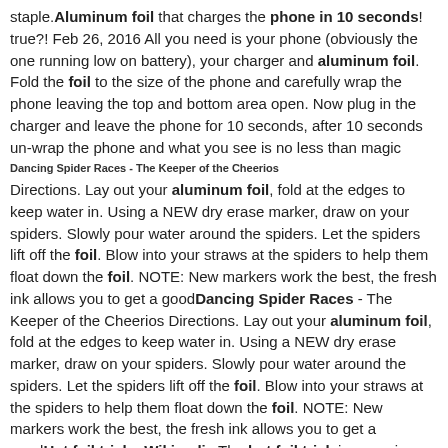staple.Aluminum foil that charges the phone in 10 seconds! true?! Feb 26, 2016 All you need is your phone (obviously the one running low on battery), your charger and aluminum foil. Fold the foil to the size of the phone and carefully wrap the phone leaving the top and bottom area open. Now plug in the charger and leave the phone for 10 seconds, after 10 seconds un-wrap the phone and what you see is no less than magic
Dancing Spider Races - The Keeper of the Cheerios
Directions. Lay out your aluminum foil, fold at the edges to keep water in. Using a NEW dry erase marker, draw on your spiders. Slowly pour water around the spiders. Let the spiders lift off the foil. Blow into your straws at the spiders to help them float down the foil. NOTE: New markers work the best, the fresh ink allows you to get a goodDancing Spider Races - The Keeper of the Cheerios Directions. Lay out your aluminum foil, fold at the edges to keep water in. Using a NEW dry erase marker, draw on your spiders. Slowly pour water around the spiders. Let the spiders lift off the foil. Blow into your straws at the spiders to help them float down the foil. NOTE: New markers work the best, the fresh ink allows you to get a goodHot foil trick - Wikipedia The hot foil trick is a magic trick in which the magician places a small piece of tin or aluminium foil in a volunteer's hand, and the foil begins to rapidly increase in temperature until the volunteer has to drop it to avoid scalding their hand, and the foil is reduced to ashes on the ground. This effect is achieved by, shortly before performing the trick, surreptitiously exposing